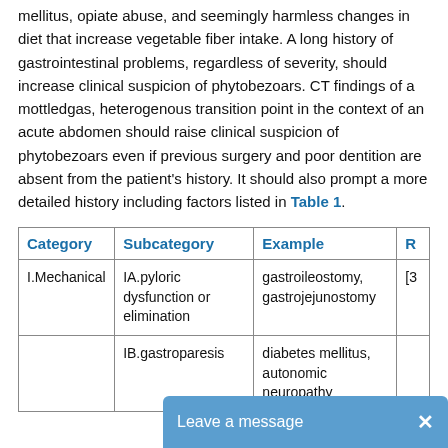mellitus, opiate abuse, and seemingly harmless changes in diet that increase vegetable fiber intake. A long history of gastrointestinal problems, regardless of severity, should increase clinical suspicion of phytobezoars. CT findings of a mottledgas, heterogenous transition point in the context of an acute abdomen should raise clinical suspicion of phytobezoars even if previous surgery and poor dentition are absent from the patient's history. It should also prompt a more detailed history including factors listed in Table 1.
| Category | Subcategory | Example | R |
| --- | --- | --- | --- |
| I.Mechanical | IA.pyloric dysfunction or elimination | gastroileostomy, gastrojejunostomy | [3 |
|  | IB.gastroparesis | diabetes mellitus, autonomic neuropathy |  |